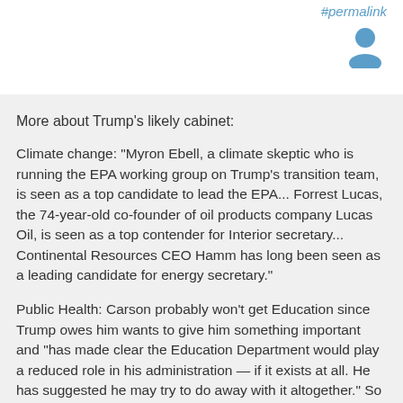#permalink
More about Trump's likely cabinet:
Climate change: "Myron Ebell, a climate skeptic who is running the EPA working group on Trump's transition team, is seen as a top candidate to lead the EPA... Forrest Lucas, the 74-year-old co-founder of oil products company Lucas Oil, is seen as a top contender for Interior secretary... Continental Resources CEO Hamm has long been seen as a leading candidate for energy secretary."
Public Health: Carson probably won't get Education since Trump owes him wants to give him something important and "has made clear the Education Department would play a reduced role in his administration — if it exists at all. He has suggested he may try to do away with it altogether." So if Carson doesn't get HHS, he'll